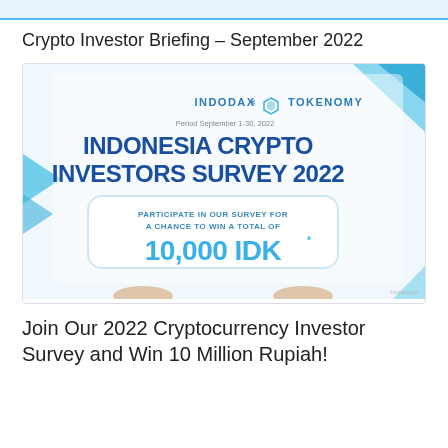Crypto Investor Briefing – September 2022
[Figure (infographic): INDODAX x TOKENOMY branded banner for Indonesia Crypto Investors Survey 2022. Text on image: 'INDODAX × TOKENOMY', 'Period September 1-30, 2022', 'INDONESIA CRYPTO INVESTORS SURVEY 2022', 'PARTICIPATE IN OUR SURVEY FOR A CHANCE TO WIN A TOTAL OF 10,000 IDK*'. Blue and white color scheme with decorative geometric shapes and hands holding a sign.]
Join Our 2022 Cryptocurrency Investor Survey and Win 10 Million Rupiah!